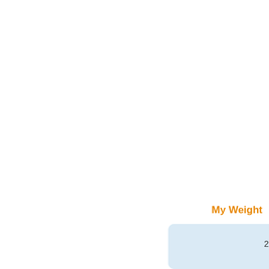[Figure (line-chart): Partial view of a weight tracking chart. Only the top portion is visible showing the y-axis label 289 and the beginning of a light blue chart area with grid lines.]